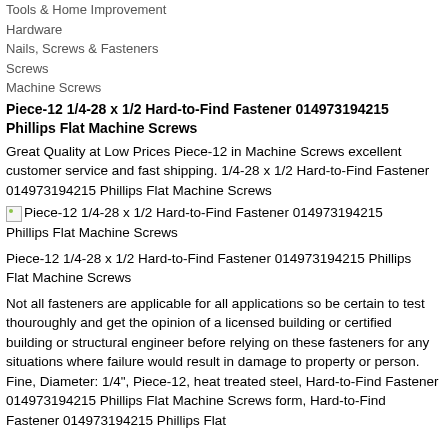Tools & Home Improvement
Hardware
Nails, Screws & Fasteners
Screws
Machine Screws
Piece-12 1/4-28 x 1/2 Hard-to-Find Fastener 014973194215 Phillips Flat Machine Screws
Great Quality at Low Prices Piece-12 in Machine Screws excellent customer service and fast shipping. 1/4-28 x 1/2 Hard-to-Find Fastener 014973194215 Phillips Flat Machine Screws
[Figure (photo): Product image placeholder for Piece-12 1/4-28 x 1/2 Hard-to-Find Fastener 014973194215 Phillips Flat Machine Screws]
Piece-12 1/4-28 x 1/2 Hard-to-Find Fastener 014973194215 Phillips Flat Machine Screws
Not all fasteners are applicable for all applications so be certain to test thouroughly and get the opinion of a licensed building or certified building or structural engineer before relying on these fasteners for any situations where failure would result in damage to property or person. Fine, Diameter: 1/4", Piece-12, heat treated steel, Hard-to-Find Fastener 014973194215 Phillips Flat Machine Screws form, Hard-to-Find Fastener 014973194215 Phillips Flat